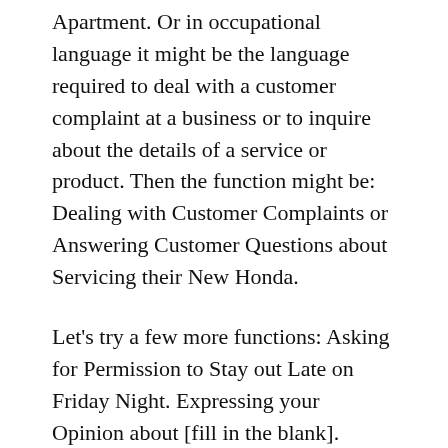Apartment. Or in occupational language it might be the language required to deal with a customer complaint at a business or to inquire about the details of a service or product. Then the function might be: Dealing with Customer Complaints or Answering Customer Questions about Servicing their New Honda.
Let's try a few more functions: Asking for Permission to Stay out Late on Friday Night. Expressing your Opinion about [fill in the blank].
Teachers who teach functions will generally have a much more motivated group of students. Why? Wouldn't you rather learn how